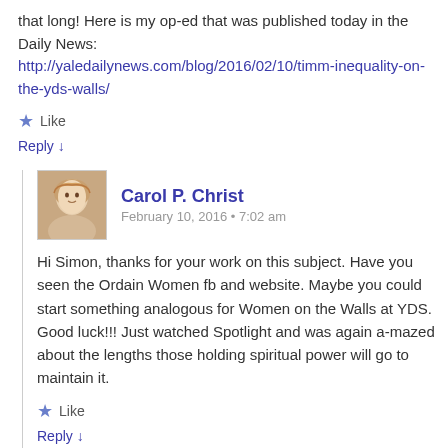that long! Here is my op-ed that was published today in the Daily News:
http://yaledailynews.com/blog/2016/02/10/timm-inequality-on-the-yds-walls/
★ Like
Reply ↓
Carol P. Christ
February 10, 2016 • 7:02 am
Hi Simon, thanks for your work on this subject. Have you seen the Ordain Women fb and website. Maybe you could start something analogous for Women on the Walls at YDS. Good luck!!! Just watched Spotlight and was again a-mazed about the lengths those holding spiritual power will go to maintain it.
★ Like
Reply ↓